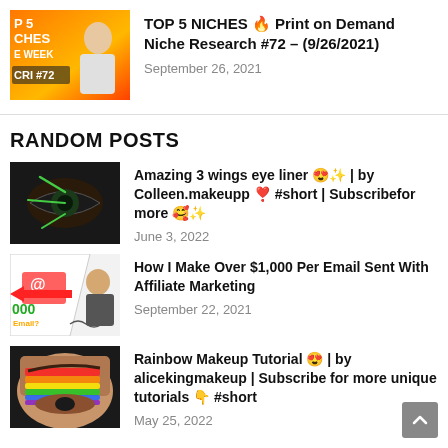[Figure (photo): Thumbnail for Top 5 Niches video #72 with orange/yellow gradient background and text overlay]
TOP 5 NICHES 🔥 Print on Demand Niche Research #72 – (9/26/2021)
September 26, 2021
RANDOM POSTS
[Figure (photo): Close-up of eye with 3 wings eyeliner makeup]
Amazing 3 wings eye liner 😍✨ | by Colleen.makeupp ❣ #short | Subscribefor more 🥰✨
June 3, 2022
[Figure (photo): Thumbnail with email icon and person pointing, affiliate marketing video]
How I Make Over $1,000 Per Email Sent With Affiliate Marketing
September 22, 2021
[Figure (photo): Close-up of eye with rainbow eyeshadow makeup]
Rainbow Makeup Tutorial 😍 | by alicekingmakeup | Subscribe for more unique tutorials 👇 #short
May 25, 2022